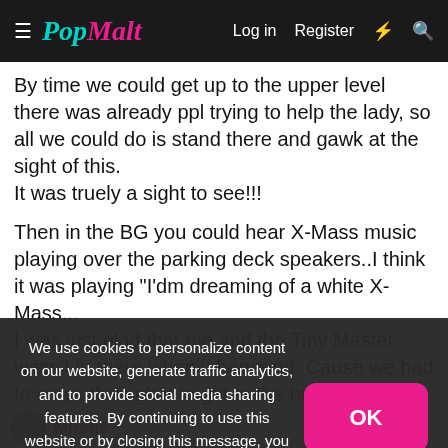PopMalt — Log in  Register
By time we could get up to the upper level there was already ppl trying to help the lady, so all we could do is stand there and gawk at the sight of this.
It was truely a sight to see!!!
Then in the BG you could hear X-Mass music playing over the parking deck speakers..I think it was playing "I'dm dreaming of a white X-Mass...
I was just glad that me and the Tiny Master wasn't in there when it happend. Cause we had to cross through it to get to the bus stop. we were on the way there when it all went down.
We use cookies to personalize content on our website, generate traffic analytics, and to provide social media sharing features. By continuing to use this website or by closing this message, you consent to our use of cookies. To find out more about how we use cookies, including how to change your cookie settings, read our privacy policy.
Mirage